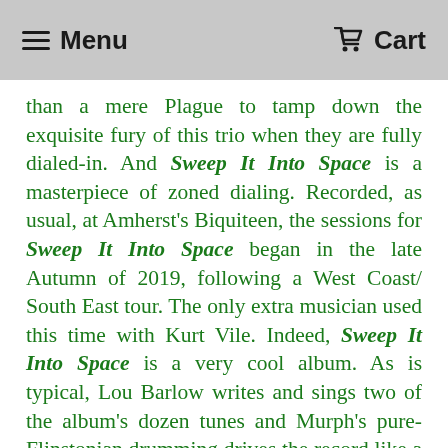Menu   Cart
than a mere Plague to tamp down the exquisite fury of this trio when they are fully dialed-in. And Sweep It Into Space is a masterpiece of zoned dialing. Recorded, as usual, at Amherst's Biquiteen, the sessions for Sweep It Into Space began in the late Autumn of 2019, following a West Coast/ South East tour. The only extra musician used this time with Kurt Vile. Indeed, Sweep It Into Space is a very cool album. As is typical, Lou Barlow writes and sings two of the album's dozen tunes and Murph's pure-Flinstonian drumming drives the record like a go cart from Hell. Lou's songs here are as elegant as always. But there are very few moments where you wouldn't know you were hearing Dinosaur Jr. in blindfolded needle drop. They have a signature sound as sure as the Stooges or Sonic Youth or